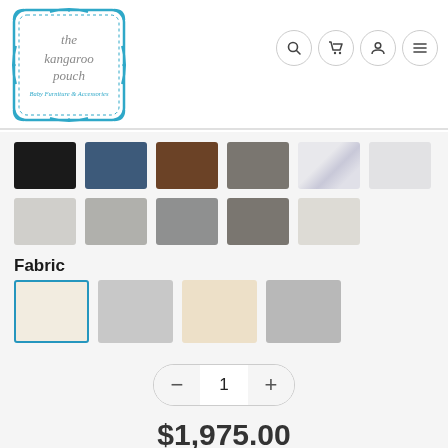[Figure (logo): The Kangaroo Pouch logo — a teal decorative frame with cursive text 'the kangaroo pouch' and subtitle 'Baby Furniture & Accessories']
[Figure (other): Navigation bar icons: search, cart, account, and menu hamburger icons in circular outlines]
[Figure (other): Two rows of finish color swatches: Row 1: black, navy blue, dark brown, grey-brown, white marble, light grey-white. Row 2: light silver-grey, brushed grey, medium grey, dark grey-brown, off-white.]
Fabric
[Figure (other): Four fabric color swatches: off-white/cream (selected with teal border), light grey, warm cream/tan, mid grey]
1
$1,975.00